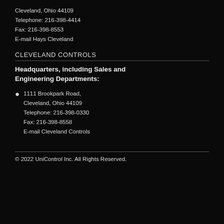Cleveland, Ohio 44109
Telephone: 216-398-4414
Fax: 216-398-8553
E-mail Hays Cleveland
CLEVELAND CONTROLS
Headquarters, including Sales and Engineering Departments:
1111 Brookpark Road,
Cleveland, Ohio 44109
Telephone: 216-398-0330
Fax: 216-398-8558
E-mail Cleveland Controls
© 2022 UniControl Inc. All Rights Reserved.